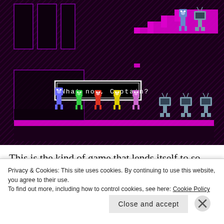[Figure (screenshot): A pixel-art game screenshot with dark purple/black background. Shows colorful robot characters (blue, green, red, yellow, pink) standing on a platform. TV-headed characters on right side and upper area. A white-bordered text box reads 'What now, Captain?' in pixelated font. A large staircase structure is visible in the upper right.]
This is the kind of game that lends itself to so many skill levels. Even the most inexperienced gamer can understand the puzzles presented in front of them, and the most skilled speedrunners will find every opportunity for
Privacy & Cookies: This site uses cookies. By continuing to use this website, you agree to their use.
To find out more, including how to control cookies, see here: Cookie Policy